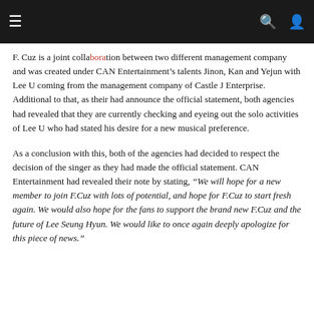menu, search, user icons
F. Cuz is a joint collaboration between two different management company and was created under CAN Entertainment’s talents Jinon, Kan and Yejun with Lee U coming from the management company of Castle J Enterprise. Additional to that, as their had announce the official statement, both agencies had revealed that they are currently checking and eyeing out the solo activities of Lee U who had stated his desire for a new musical preference.
As a conclusion with this, both of the agencies had decided to respect the decision of the singer as they had made the official statement. CAN Entertainment had revealed their note by stating, “We will hope for a new member to join F.Cuz with lots of potential, and hope for F.Cuz to start fresh again. We would also hope for the fans to support the brand new F.Cuz and the future of Lee Seung Hyun. We would like to once again deeply apologize for this piece of news.”